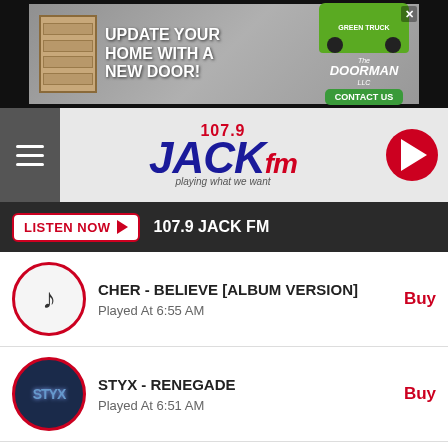[Figure (illustration): Top advertisement banner: 'UPDATE YOUR HOME WITH A NEW DOOR!' - The Doorman LLC, with image of green truck and garage door, Contact Us button]
[Figure (logo): 107.9 JACK fm radio station logo - playing what we want]
LISTEN NOW ▶  107.9 JACK FM
CHER - BELIEVE [ALBUM VERSION]
Played At 6:55 AM
Buy
STYX - RENEGADE
Played At 6:51 AM
Buy
SEMISONIC - CLOSING TIME
Played At 6:47 AM
Buy
BILLY JOEL - ITS STILL ROCK AND ROLL TO ME
[Figure (illustration): Bottom advertisement: Building and Design, Inc., General Contractor in Casper, WY - Over 35 Years of Experience, Call Today button]